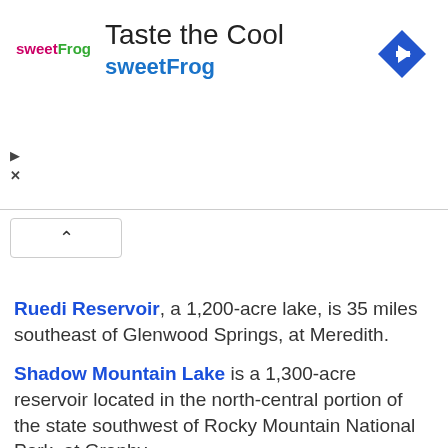[Figure (screenshot): SweetFrog advertisement banner with logo, 'Taste the Cool' title, 'sweetFrog' subtitle in blue, navigation arrow icon, play and close buttons]
Ruedi Reservoir, a 1,200-acre lake, is 35 miles southeast of Glenwood Springs, at Meredith.
Shadow Mountain Lake is a 1,300-acre reservoir located in the north-central portion of the state southwest of Rocky Mountain National Park, at Granby.
Sloan Lake, located in the northwest section of Denver, is a 177 acre recreation lake within Sloan's Lake Park.
Spinney Mountain Reservoir is a 2,500-acre lake